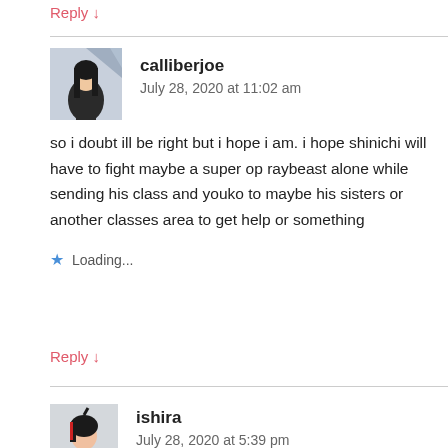Reply ↓
calliberjoe
July 28, 2020 at 11:02 am
so i doubt ill be right but i hope i am. i hope shinichi will have to fight maybe a super op raybeast alone while sending his class and youko to maybe his sisters or another classes area to get help or something
Loading...
Reply ↓
ishira
July 28, 2020 at 5:39 pm